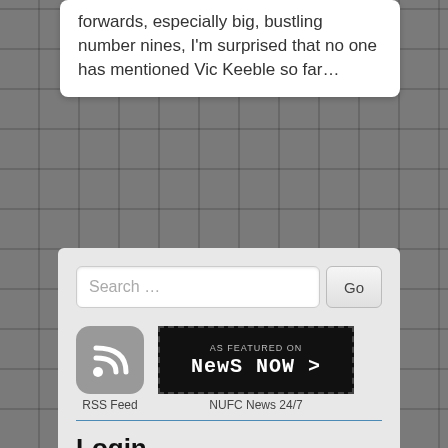forwards, especially big, bustling number nines, I'm surprised that no one has mentioned Vic Keeble so far…
[Figure (screenshot): Sidebar widget panel with search bar, RSS Feed icon, NewsNow badge, Login form with Username and Password fields, Remember Me checkbox, and Log In button]
Search …
RSS Feed
NUFC News 24/7
Login
Username
Password
Remember Me
Log In